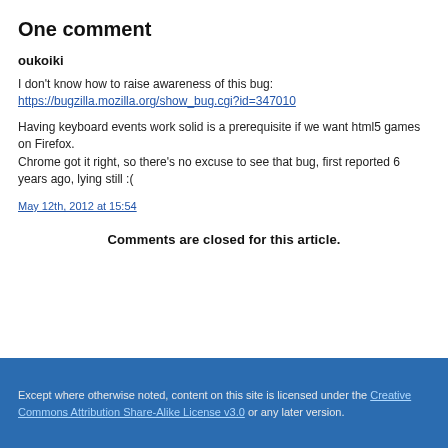One comment
oukoiki
I don't know how to raise awareness of this bug:
https://bugzilla.mozilla.org/show_bug.cgi?id=347010
Having keyboard events work solid is a prerequisite if we want html5 games on Firefox.
Chrome got it right, so there's no excuse to see that bug, first reported 6 years ago, lying still :(
May 12th, 2012 at 15:54
Comments are closed for this article.
Except where otherwise noted, content on this site is licensed under the Creative Commons Attribution Share-Alike License v3.0 or any later version.